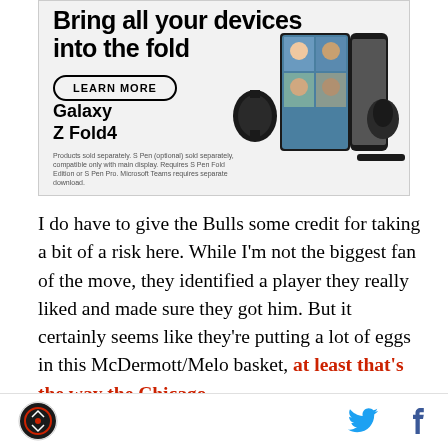[Figure (photo): Samsung Galaxy Z Fold4 advertisement. Shows text 'Bring all your devices into the fold', a 'LEARN MORE' button, Samsung Galaxy Z Fold4 product name, and images of the device (smartwatch, folding phone, earbuds).]
I do have to give the Bulls some credit for taking a bit of a risk here. While I'm not the biggest fan of the move, they identified a player they really liked and made sure they got him. But it certainly seems like they're putting a lot of eggs in this McDermott/Melo basket, at least that's the way the Chicago Tribune's David Haugh sees it, and that may be...